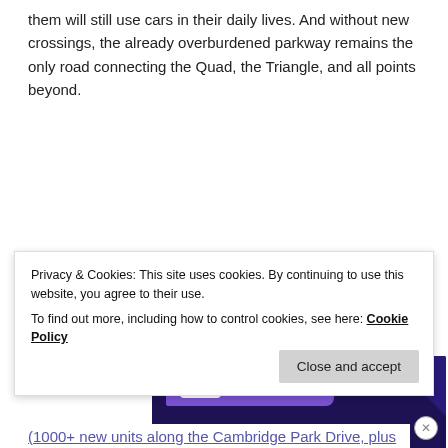them will still use cars in their daily lives. And without new crossings, the already overburdened parkway remains the only road connecting the Quad, the Triangle, and all points beyond.
[Figure (illustration): WooCommerce advertisement banner with dark purple background, green triangle shape on left, cyan circle on bottom right, purple speech bubble with WooCommerce logo at top, and white bold text reading 'Turn your hobby into a business in 8 steps']
Privacy & Cookies: This site uses cookies. By continuing to use this website, you agree to their use.
To find out more, including how to control cookies, see here: Cookie Policy
(1000+ new units along the Cambridge Park Drive, plus